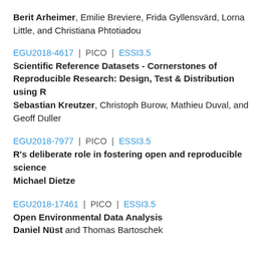Berit Arheimer, Emilie Breviere, Frida Gyllensvärd, Lorna Little, and Christiana Phtotiadou
EGU2018-4617 | PICO | ESSI3.5
Scientific Reference Datasets - Cornerstones of Reproducible Research: Design, Test & Distribution using R
Sebastian Kreutzer, Christoph Burow, Mathieu Duval, and Geoff Duller
EGU2018-7977 | PICO | ESSI3.5
R's deliberate role in fostering open and reproducible science
Michael Dietze
EGU2018-17461 | PICO | ESSI3.5
Open Environmental Data Analysis
Daniel Nüst and Thomas Bartoschek